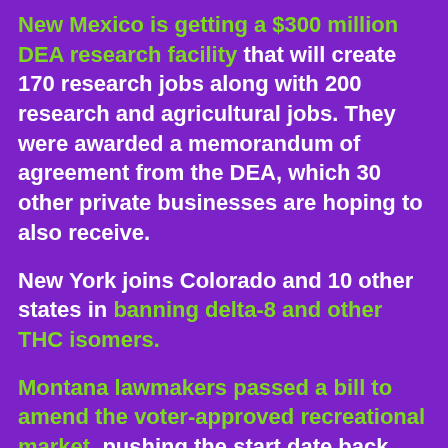New Mexico is getting a $300 million DEA research facility that will create 170 research jobs along with 200 research and agricultural jobs. They were awarded a memorandum of agreement from the DEA, which 30 other private businesses are hoping to also receive.
New York joins Colorado and 10 other states in banning delta-8 and other THC isomers.
Montana lawmakers passed a bill to amend the voter-approved recreational market, pushing the start date back three months, setting a THC cap on flower, limiting edible potency per...